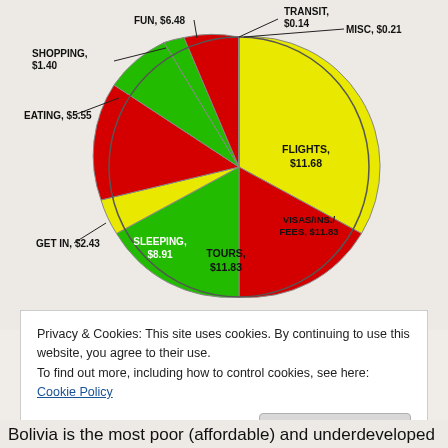[Figure (pie-chart): Travel Budget Pie Chart]
Privacy & Cookies: This site uses cookies. By continuing to use this website, you agree to their use.
To find out more, including how to control cookies, see here: Cookie Policy
Bolivia is the most poor (affordable) and underdeveloped